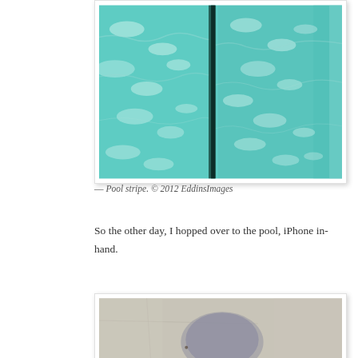[Figure (photo): Aerial view of a swimming pool showing turquoise water with light caustics and a dark lane stripe running vertically through the center. The pool edge is visible on the right side.]
— Pool stripe. © 2012 EddinsImages
So the other day, I hopped over to the pool, iPhone in-hand.
[Figure (photo): Concrete pool deck with a shadow of a person (round head visible) cast on the light gray surface, taken from the photographer's perspective looking down.]